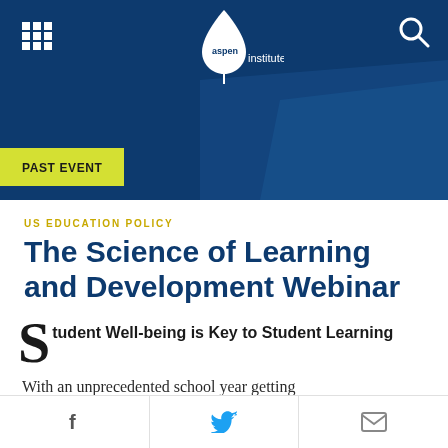[Figure (logo): Aspen Institute logo with leaf/droplet icon in white on dark blue header bar, with grid menu icon on left and search icon on right]
PAST EVENT
US EDUCATION POLICY
The Science of Learning and Development Webinar
Student Well-being is Key to Student Learning
With an unprecedented school year getting